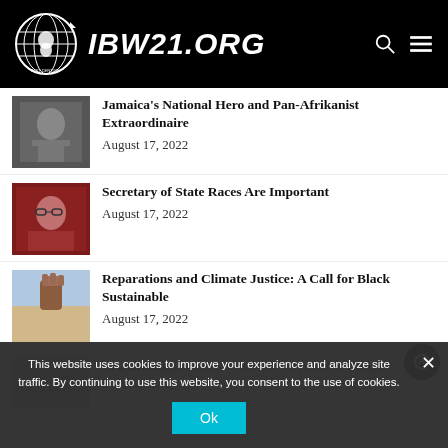IBW21.ORG
Jamaica's National Hero and Pan-Afrikanist Extraordinaire
August 17, 2022
Secretary of State Races Are Important
August 17, 2022
Reparations and Climate Justice: A Call for Black Sustainable
August 17, 2022
NAARO administrator delivers keynote at global reparations
This website uses cookies to improve your experience and analyze site traffic. By continuing to use this website, you consent to the use of cookies.
Ok